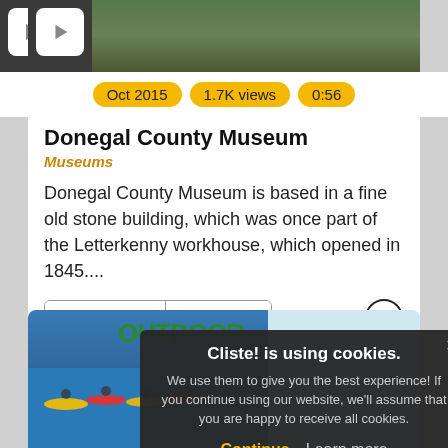[Figure (screenshot): Video thumbnail with play button and stone building background showing Oct 2015, 1.7K views, 0:56 tags]
Donegal County Museum
Museums
Donegal County Museum is based in a fine old stone building, which was once part of the Letterkenny workhouse, which opened in 1845....
[Figure (screenshot): Buttons: Information | Message, and Cliste logo]
[Figure (photo): Kayakers on water, partial view of second listing card]
Cliste! is using cookies. We use them to give you the best experience! If you continue using our website, we'll assume that you are happy to receive all cookies. Continue  Learn more